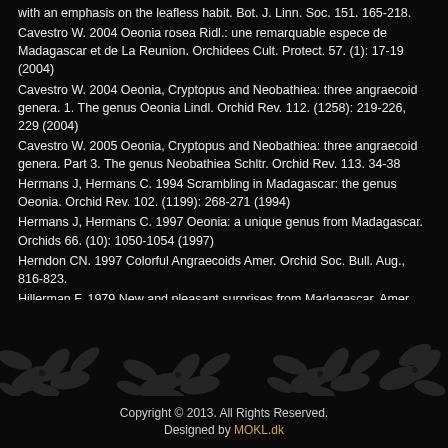with an emphasis on the leafless habit. Bot. J. Linn. Soc. 151. 165-218.
Cavestro W. 2004 Oeonia rosea Ridl.: une remarquable espece de Madagascar et de La Reunion. Orchidees Cult. Protect. 57. (1): 17-19 (2004)
Cavestro W. 2004 Oeonia, Cryptopus and Neobathiea: three angraecoid genera. 1. The genus Oeonia Lindl. Orchid Rev. 112. (1258): 219-226, 229 (2004)
Cavestro W. 2005 Oeonia, Cryptopus and Neobathiea: three angraecoid genera. Part 3. The genus Neobathiea Schltr. Orchid Rev. 113. 34-38
Hermans J, Hermans C. 1994 Scrambling in Madagascar: the genus Oeonia. Orchid Rev. 102. (1199): 268-271 (1994)
Hermans J, Hermans C. 1997 Oeonia: a unique genus from Madagascar. Orchids 66. (10): 1050-1054 (1997)
Herndon CN. 1997 Colorful Angraecoids Amer. Orchid Soc. Bull. Aug., 816-823.
Hillerman F. 1979 New and pleasant surprises from Madagascar. Amer. Orchid Soc. Bull. 48. (4): 335 - 340 (1979)
Copyright © 2013. All Rights Reserved. Designed by MOKL.dk